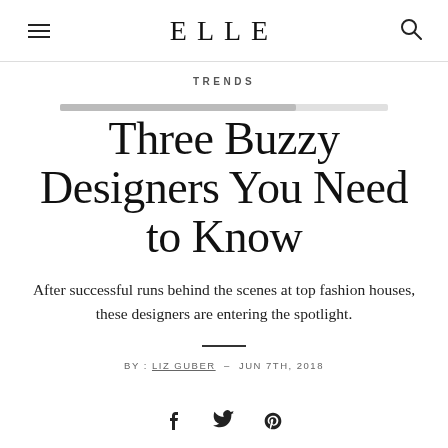ELLE
TRENDS
Three Buzzy Designers You Need to Know
After successful runs behind the scenes at top fashion houses, these designers are entering the spotlight.
BY : LIZ GUBER - JUN 7TH, 2018